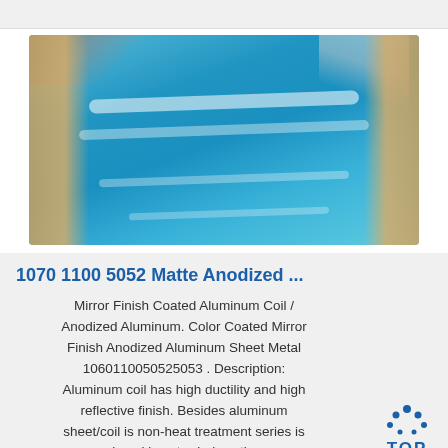[Figure (photo): Blue mirror/anodized aluminum sheet or coil, shown unwrapped with brown protective paper on the sides and a dark background. Reflective white light streaks visible on the blue surface.]
1070 1100 5052 Matte Anodized ...
Mirror Finish Coated Aluminum Coil / Anodized Aluminum. Color Coated Mirror Finish Anodized Aluminum Sheet Metal 1060110050525053 . Description: Aluminum coil has high ductility and high reflective finish. Besides aluminum sheet/coil is non-heat treatment series is produced in extruded sections...